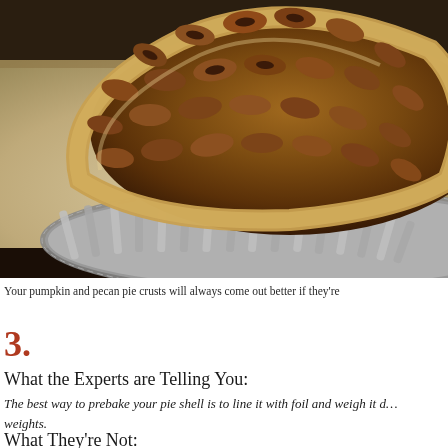[Figure (photo): A pecan pie in a fluted tin pan on parchment paper on a baking sheet, photographed from above at an angle, showing the pecan-filled interior and the golden crust rim with a metallic fluted tin edge.]
Your pumpkin and pecan pie crusts will always come out better if they're...
3.
What the Experts are Telling You:
The best way to prebake your pie shell is to line it with foil and weigh it down with pie weights.
What They're Not: